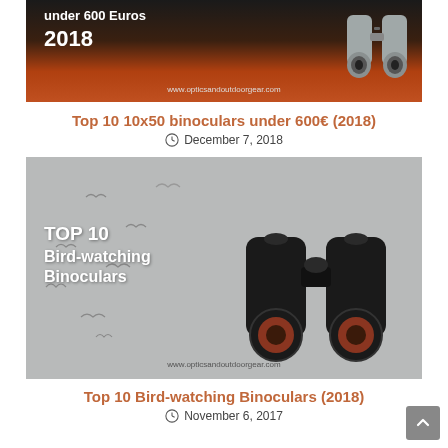[Figure (photo): Promotional banner image for top 10 10x50 binoculars under 600 Euros 2018, with orange/dark background and binoculars graphic. URL: www.opticsandoutdoorgear.com]
Top 10 10x50 binoculars under 600€ (2018)
December 7, 2018
[Figure (photo): Promotional banner image for Top 10 Bird-watching Binoculars with grey background, birds silhouettes in background, black binoculars in foreground. URL: www.opticsandoutdoorgear.com]
Top 10 Bird-watching Binoculars (2018)
November 6, 2017